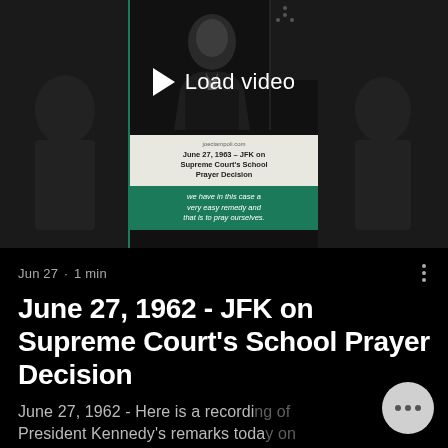[Figure (screenshot): Video thumbnail for 'June 27, 1962 - JFK on Supreme Court's School Prayer Decision' showing a black and white photo of President Kennedy at a podium, with a 'Load video' overlay button, and text blocks with the title and a quote: 'we have in this case a very easy remedy and that is to pray ourselves.']
Jun 27 · 1 min
June 27, 1962 - JFK on Supreme Court's School Prayer Decision
June 27, 1962 - Here is a recording of President Kennedy's remarks today on the Supreme Court's school...